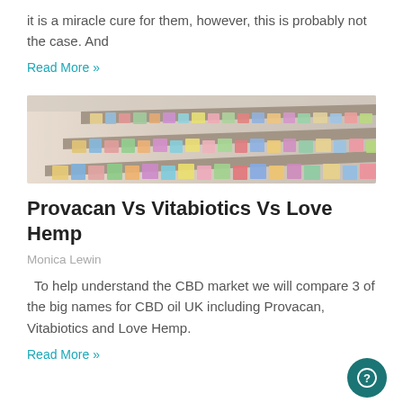it is a miracle cure for them, however, this is probably not the case. And
Read More »
[Figure (photo): Blurred pharmacy or supplement store shelves stocked with colorful product boxes and bottles, viewed in perspective.]
Provacan Vs Vitabiotics Vs Love Hemp
Monica Lewin
To help understand the CBD market we will compare 3 of the big names for CBD oil UK including Provacan, Vitabiotics and Love Hemp.
Read More »